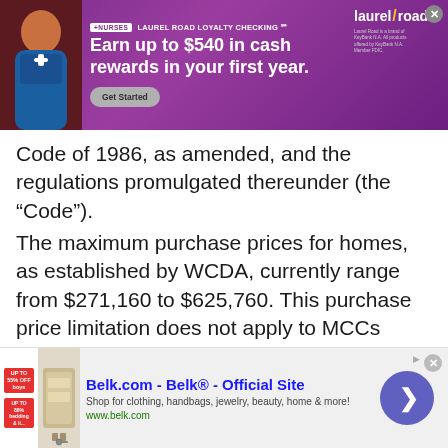[Figure (other): Top banner advertisement for Laurel Road Loyalty Checking featuring a nurse and text: +NURSES LAUREL ROAD LOYALTY CHECKING. Earn up to $540 in cash rewards in your first year. Get Started button. Laurel Road logo.]
Code of 1986, as amended, and the regulations promulgated thereunder (the “Code”).
The maximum purchase prices for homes, as established by WCDA, currently range from $271,160 to $625,760. This purchase price limitation does not apply to MCCs issued in connection with qualified home improvement loans.
Applicants also must meet the following eligibility requirements:
Qualified applicants must occupy the residence as
[Figure (other): Bottom banner advertisement for Belk.com - Belk Official Site. Shows sale badges, bedding image, and text: Shop for clothing, handbags, jewelry, beauty, home & more! www.belk.com. Purple arrow button.]